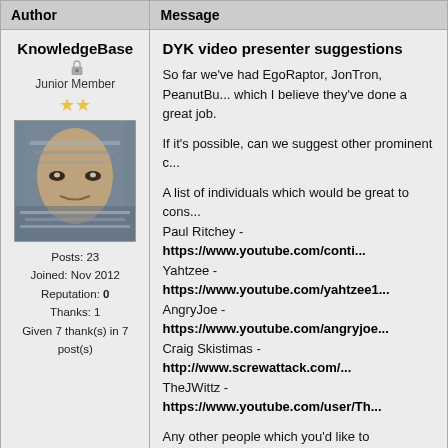| Author | Message |
| --- | --- |
| KnowledgeBase
Junior Member
Posts: 23
Joined: Nov 2012
Reputation: 0
Thanks: 1
Given 7 thank(s) in 7 post(s) | DYK video presenter suggestions
So far we've had EgoRaptor, JonTron, PeanutBu... which I believe they've done a great job.

If it's possible, can we suggest other prominent c...

A list of individuals which would be great to cons...
Paul Ritchey - https://www.youtube.com/conti...
Yahtzee - https://www.youtube.com/yahtzee1...
AngryJoe - https://www.youtube.com/angryjoe...
Craig Skistimas - http://www.screwattack.com/...
TheJWittz - https://www.youtube.com/user/Th...

Any other people which you'd like to recommend... |
| 02-09-2013 08:30 PM | FIND |
| Psychospacecow
Ruler of the Roma Tomato | RE: DYK video presenter suggestions
Maybe you could get Gaijin Goomba to do it. H... videos without the edit.

https://www.youtube.com/user/gaijingoom... |